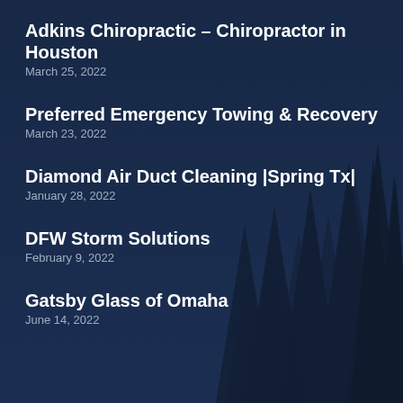[Figure (illustration): Dark blue night forest background with pine/fir trees silhouetted in dark navy blue tones, misty atmosphere]
Adkins Chiropractic – Chiropractor in Houston
March 25, 2022
Preferred Emergency Towing & Recovery
March 23, 2022
Diamond Air Duct Cleaning |Spring Tx|
January 28, 2022
DFW Storm Solutions
February 9, 2022
Gatsby Glass of Omaha
June 14, 2022